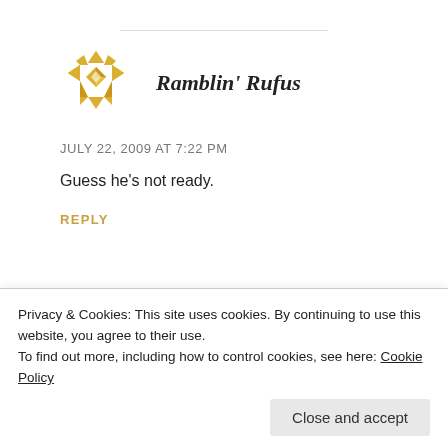[Figure (illustration): Decorative geometric avatar icon in gold/amber colors, circular shape with diamond and triangle patterns]
Ramblin' Rufus
JULY 22, 2009 AT 7:22 PM
Guess he's not ready.
REPLY
[Figure (illustration): Decorative geometric avatar icon in gold/amber colors, partially visible at bottom]
Ramblin' Rufus
Privacy & Cookies: This site uses cookies. By continuing to use this website, you agree to their use.
To find out more, including how to control cookies, see here: Cookie Policy
Close and accept